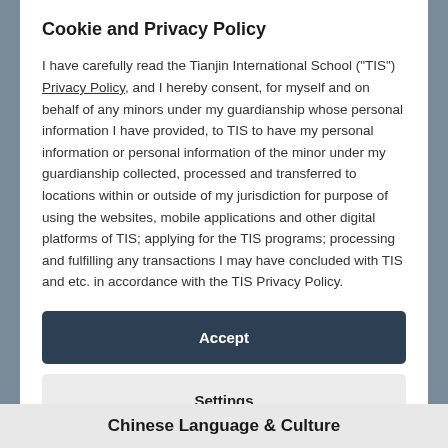Cookie and Privacy Policy
I have carefully read the Tianjin International School ("TIS") Privacy Policy, and I hereby consent, for myself and on behalf of any minors under my guardianship whose personal information I have provided, to TIS to have my personal information or personal information of the minor under my guardianship collected, processed and transferred to locations within or outside of my jurisdiction for purpose of using the websites, mobile applications and other digital platforms of TIS; applying for the TIS programs; processing and fulfilling any transactions I may have concluded with TIS and etc. in accordance with the TIS Privacy Policy.
Accept
Settings
Chinese Language & Culture